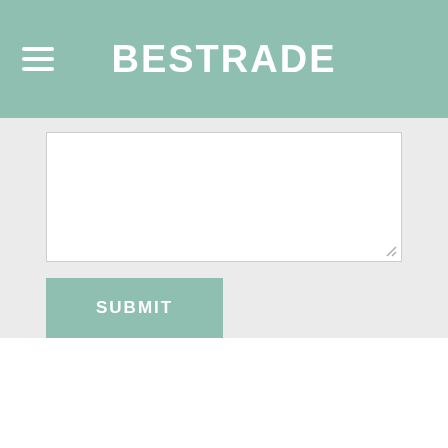BESTRADE
[Figure (screenshot): Text area input field with resize handle in bottom-right corner, on a light gray background]
[Figure (screenshot): SUBMIT button in sage green/teal color with white bold uppercase text]
ABOUT US   ALL PRODUCTS
Copyright 2022 © qd-bestrade.com